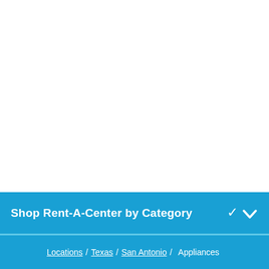Shop Rent-A-Center by Category
Locations / Texas / San Antonio / Appliances